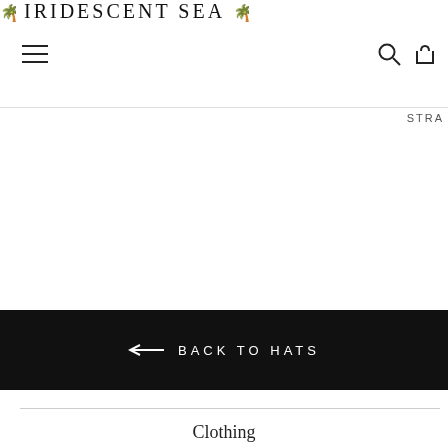🌴 IRIDESCENT SEA 🌴
STRA
← BACK TO HATS
Clothing
Swimwear
Accessories